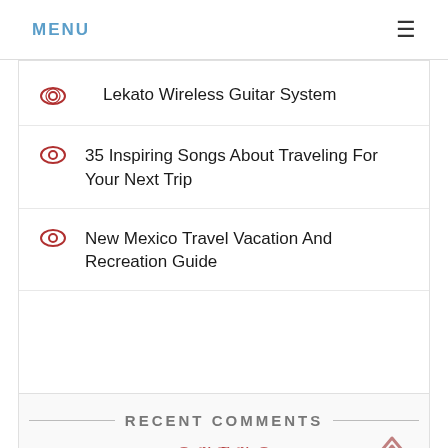MENU
Lekato Wireless Guitar System
35 Inspiring Songs About Traveling For Your Next Trip
New Mexico Travel Vacation And Recreation Guide
RECENT COMMENTS